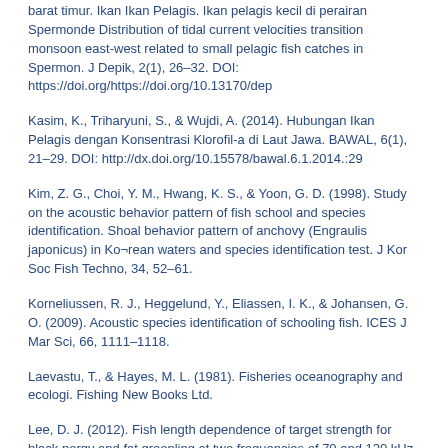barat timur. Ikan Ikan Pelagis. Ikan pelagis kecil di perairan Spermonde Distribution of tidal current velocities transition monsoon east-west related to small pelagic fish catches in Spermon. J Depik, 2(1), 26–32. DOI: https://doi.org/https://doi.org/10.13170/dep
Kasim, K., Triharyuni, S., & Wujdi, A. (2014). Hubungan Ikan Pelagis dengan Konsentrasi Klorofil-a di Laut Jawa. BAWAL, 6(1), 21–29. DOI: http://dx.doi.org/10.15578/bawal.6.1.2014.:29
Kim, Z. G., Choi, Y. M., Hwang, K. S., & Yoon, G. D. (1998). Study on the acoustic behavior pattern of fish school and species identification. Shoal behavior pattern of anchovy (Engraulis japonicus) in Ko¬rean waters and species identification test. J Kor Soc Fish Techno, 34, 52–61.
Korneliussen, R. J., Heggelund, Y., Eliassen, I. K., & Johansen, G. O. (2009). Acoustic species identification of schooling fish. ICES J Mar Sci, 66, 1111–1118.
Laevastu, T., & Hayes, M. L. (1981). Fisheries oceanography and ecologi. Fishing New Books Ltd.
Lee, D. J. (2012). Fish length dependence of target strength for black porgy and fat greenling at two frequencies of 70 and 120 kHz. J Kor Soc Fish Technol, 48, 127–146.